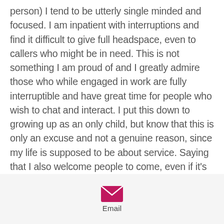person) I tend to be utterly single minded and focused. I am inpatient with interruptions and find it difficult to give full headspace, even to callers who might be in need. This is not something I am proud of and I greatly admire those who while engaged in work are fully interruptible and have great time for people who wish to chat and interact. I put this down to growing up as an only child, but know that this is only an excuse and not a genuine reason, since my life is supposed to be about service. Saying that I also welcome people to come, even if it's only to get me out of my selfish ways. Truly I know that its only when we are put out of our own way can we be put into God's way! As a society we tend to measure
[Figure (illustration): Pink/magenta envelope icon representing email]
Email